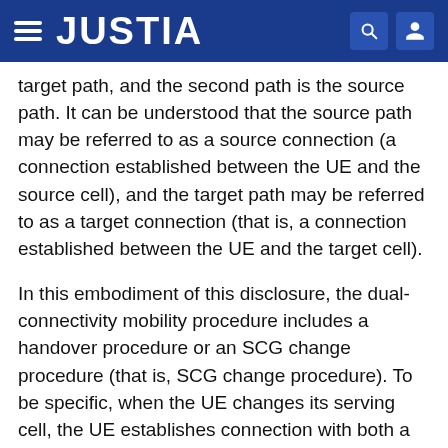JUSTIA
target path, and the second path is the source path. It can be understood that the source path may be referred to as a source connection (a connection established between the UE and the source cell), and the target path may be referred to as a target connection (that is, a connection established between the UE and the target cell).
In this embodiment of this disclosure, the dual-connectivity mobility procedure includes a handover procedure or an SCG change procedure (that is, SCG change procedure). To be specific, when the UE changes its serving cell, the UE establishes connection with both a source cell and a target cell, then releases the connection with the source cell, and only maintains the connection with the target cell. For example, in the handover procedure, a PCell serving cell of the UE